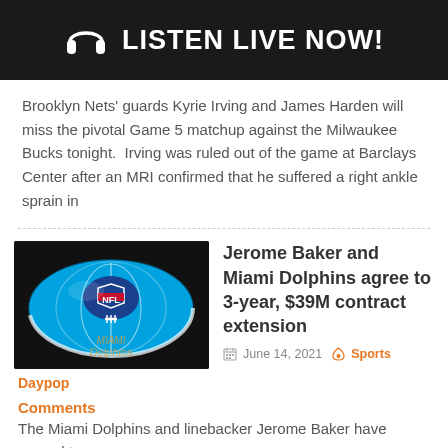LISTEN LIVE NOW!
Brooklyn Nets' guards Kyrie Irving and James Harden will miss the pivotal Game 5 matchup against the Milwaukee Bucks tonight.  Irving was ruled out of the game at Barclays Center after an MRI confirmed that he suffered a right ankle sprain in
[Figure (photo): Blue Miami Dolphins NFL football with NFL shield logo on a dark background]
Jerome Baker and Miami Dolphins agree to 3-year, $39M contract extension
June 14, 2021  Sports
Daypop
Comments
The Miami Dolphins and linebacker Jerome Baker have agreed to